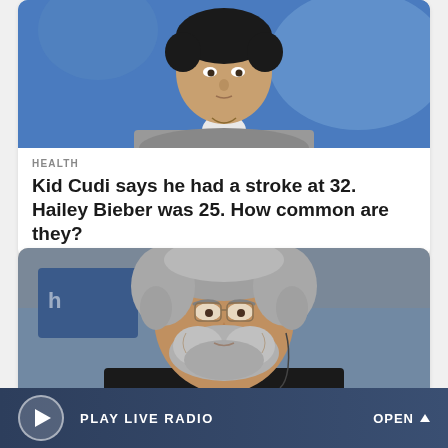[Figure (photo): Photo of a person (man in grey sweatshirt) against a blue background, cropped at chest/shoulder level]
HEALTH
Kid Cudi says he had a stroke at 32. Hailey Bieber was 25. How common are they?
[Figure (photo): Photo of an older man with grey hair, beard and glasses wearing a dark jacket, with a headset/earpiece, against a blurred blue background]
PLAY LIVE RADIO   OPEN ^